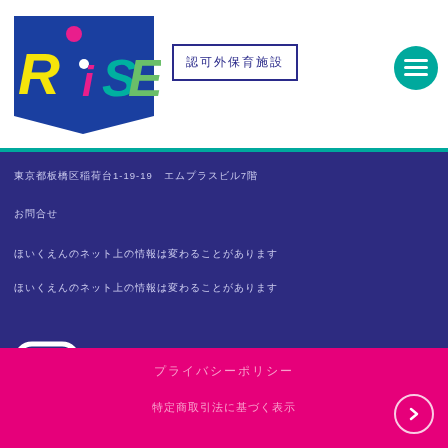[Figure (logo): RISE Japan colorful logo with letters R, dot, i, S, E in yellow, pink, teal, purple, green on a blue background]
認可外保育施設
東京都板橋区稲荷台1-19-19 エムプラスビル7階
お問合せ
ほいくえんのネット上の情報は変わることがあります
ほいくえんのネット上の情報は変わることがあります
[Figure (logo): Instagram icon (camera outline in white) followed by RISE Japan公式Instagram text]
プライバシーポリシー
特定商取引法に基づく表示